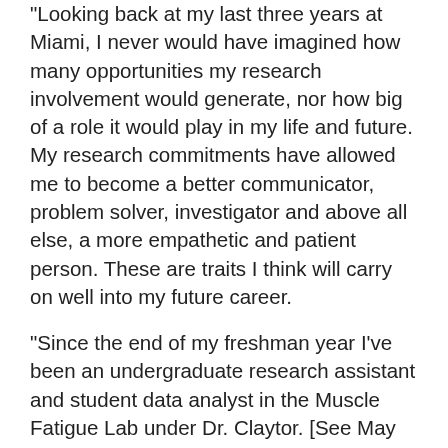"Looking back at my last three years at Miami, I never would have imagined how many opportunities my research involvement would generate, nor how big of a role it would play in my life and future. My research commitments have allowed me to become a better communicator, problem solver, investigator and above all else, a more empathetic and patient person. These are traits I think will carry on well into my future career.
"Since the end of my freshman year I've been an undergraduate research assistant and student data analyst in the Muscle Fatigue Lab under Dr. Claytor. [See May 7, 2019 post in the Research and Innovation Report.] My involvement in undergraduate research has undoubtedly been one of the most influential experiences of my academic career. In our lab, we examine acute, local muscle fatigue and muscle fiber activation adaptation patterns from a neuromuscular and external mechanical perspective. We use a dynamic single-leg extension resistance exercise model and a systematic unloading training template to better